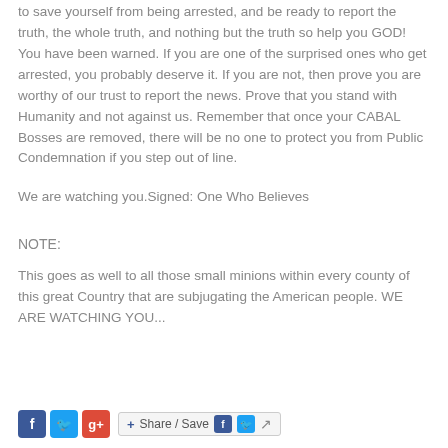to save yourself from being arrested, and be ready to report the truth, the whole truth, and nothing but the truth so help you GOD! You have been warned. If you are one of the surprised ones who get arrested, you probably deserve it. If you are not, then prove you are worthy of our trust to report the news. Prove that you stand with Humanity and not against us. Remember that once your CABAL Bosses are removed, there will be no one to protect you from Public Condemnation if you step out of line.
We are watching you.Signed: One Who Believes
NOTE:
This goes as well to all those small minions within every county of this great Country that are subjugating the American people. WE ARE WATCHING YOU...
[Figure (other): Social sharing icons: Facebook, Twitter, Google Plus, and a Share/Save button with Facebook, Twitter, and forward icons]